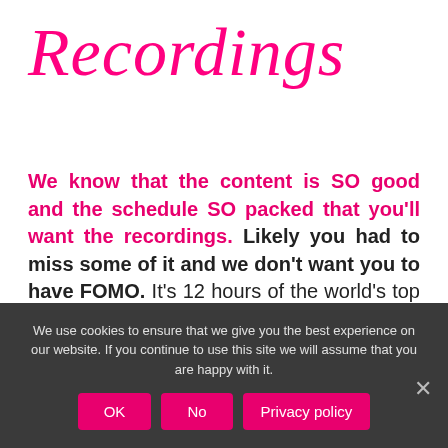Recordings
We know that the content is SO good and the schedule SO packed that you'll want the recordings. Likely you had to miss some of it and we don't want you to have FOMO. It's 12 hours of the world's top experts in everything a woman needs to be her most empowered on purpose badass self - so of course you want the recordings!
We use cookies to ensure that we give you the best experience on our website. If you continue to use this site we will assume that you are happy with it.
OK | No | Privacy policy